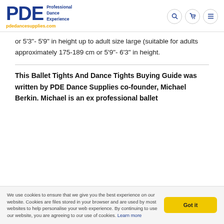PDE Professional Dance Experience pdedancesupplies.com
or 5'3"- 5'9" in height up to adult size large (suitable for adults approximately 175-189 cm or 5'9"- 6'3" in height.
This Ballet Tights And Dance Tights Buying Guide was written by PDE Dance Supplies co-founder, Michael Berkin. Michael is an ex professional ballet
We use cookies to ensure that you the best experience on our website. Cookies are files stored in your browser and are used by most websites to help personalise your web experience. By continuing to use our website, you are agreeing to our use of cookies. Learn more